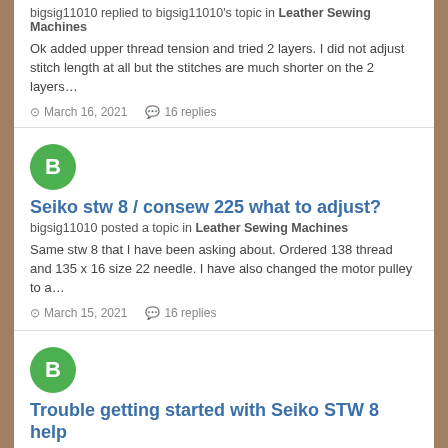bigsig11010 replied to bigsig11010's topic in Leather Sewing Machines
Ok added upper thread tension and tried 2 layers. I did not adjust stitch length at all but the stitches are much shorter on the 2 layers…
March 16, 2021   16 replies
[Figure (illustration): Green circle avatar with white letter B]
Seiko stw 8 / consew 225 what to adjust?
bigsig11010 posted a topic in Leather Sewing Machines
Same stw 8 that I have been asking about. Ordered 138 thread and 135 x 16 size 22 needle. I have also changed the motor pulley to a…
March 15, 2021   16 replies
[Figure (illustration): Green circle avatar with white letter B]
Trouble getting started with Seiko STW 8 help